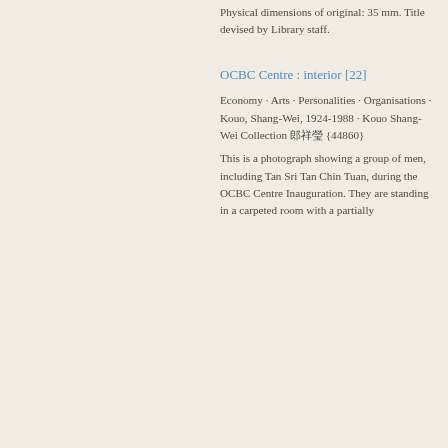Physical dimensions of original: 35 mm. Title devised by Library staff.
OCBC Centre : interior [22]
Economy · Arts · Personalities · Organisations · Kouo, Shang-Wei, 1924-1988 · Kouo Shang-Wei Collection 郭祥瑞 {44860}
This is a photograph showing a group of men, including Tan Sri Tan Chin Tuan, during the OCBC Centre Inauguration. They are standing in a carpeted room with a partially